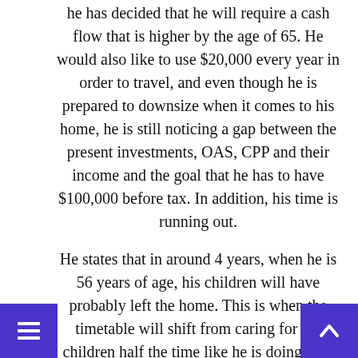he has decided that he will require a cash flow that is higher by the age of 65. He would also like to use $20,000 every year in order to travel, and even though he is prepared to downsize when it comes to his home, he is still noticing a gap between the present investments, OAS, CPP and their income and the goal that he has to have $100,000 before tax. In addition, his time is running out.
He states that in around 4 years, when he is 56 years of age, his children will have probably left the home. This is when the timetable will shift from caring for the children half the time like he is doing now combined with shared responsibilities, to fully caring for himself and time left to fully focus on the fortune he has already built skillfully through a number of wise